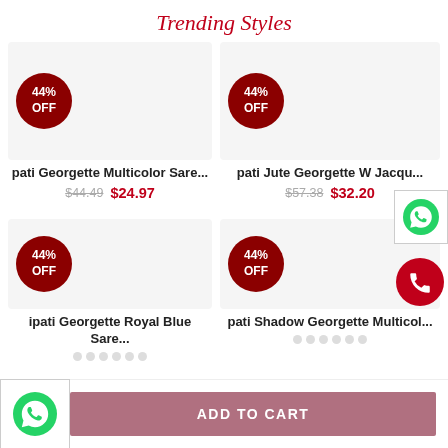Trending Styles
[Figure (photo): Product card: Georgette Multicolor Saree with 44% OFF badge, old price $44.49, new price $24.97]
[Figure (photo): Product card: Jute Georgette Jacquard Saree with 44% OFF badge, old price $57.38, new price $32.20]
[Figure (photo): Product card: Georgette Royal Blue Saree with 44% OFF badge]
[Figure (photo): Product card: Shadow Georgette Multicolor Saree with 44% OFF badge]
ADD TO CART